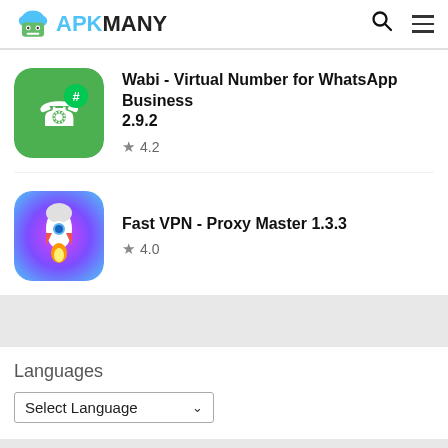APKMANY
Wabi - Virtual Number for WhatsApp Business 2.9.2 ★ 4.2
Fast VPN - Proxy Master 1.3.3 ★ 4.0
Languages
Select Language
Popular Apps
Whatsapp GB